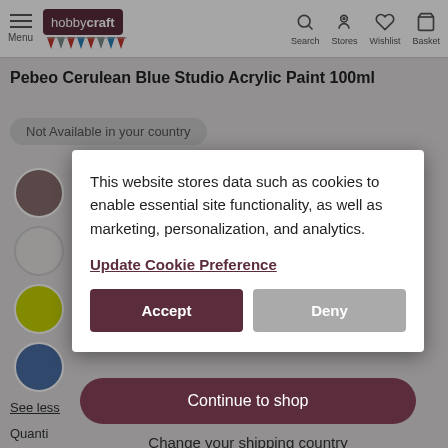[Figure (screenshot): Hobbycraft website header with menu, logo, search, stores, wishlist, basket icons]
Pebeo Cerulean Blue Studio Acrylic Paint 100ml
Not Available in your country
This website stores data such as cookies to enable essential site functionality, as well as marketing, personalization, and analytics.
Update Cookie Preference
Accept
Deny
Continue to shop
Change your shipping country
See less
Quanti